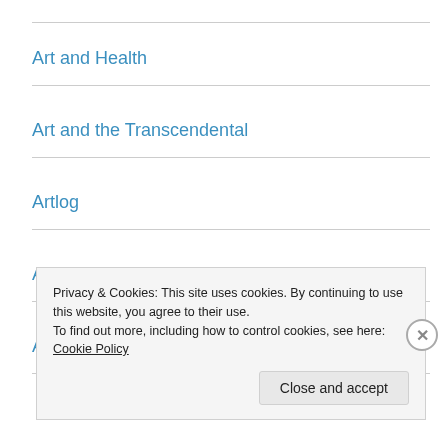Art and Health
Art and the Transcendental
Artlog
Arts Council Wales
Asemic Writing
Privacy & Cookies: This site uses cookies. By continuing to use this website, you agree to their use.
To find out more, including how to control cookies, see here: Cookie Policy
Close and accept